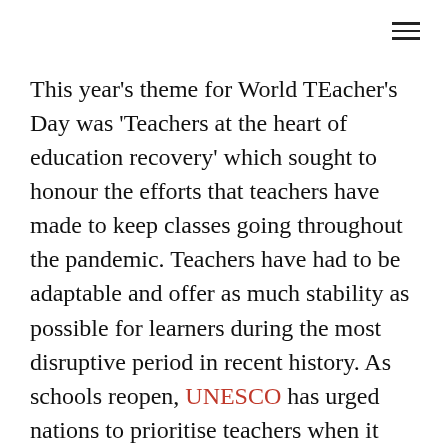This year's theme for World TEacher's Day was 'Teachers at the heart of education recovery' which sought to honour the efforts that teachers have made to keep classes going throughout the pandemic. Teachers have had to be adaptable and offer as much stability as possible for learners during the most disruptive period in recent history. As schools reopen, UNESCO has urged nations to prioritise teachers when it comes to vaccine deployment. In Africa, they are Priority 1 in Kenya, Uganda, Cote d'Ivoire and Morocco. More can be done to ensure